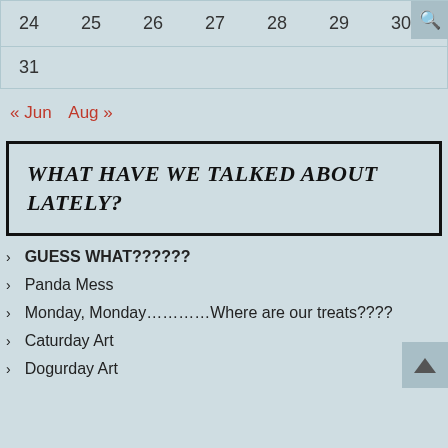| 24 | 25 | 26 | 27 | 28 | 29 | 30 |
| 31 |  |  |  |  |  |  |
« Jun   Aug »
WHAT HAVE WE TALKED ABOUT LATELY?
GUESS WHAT??????
Panda Mess
Monday, Monday…………Where are our treats????
Caturday Art
Dogurday Art